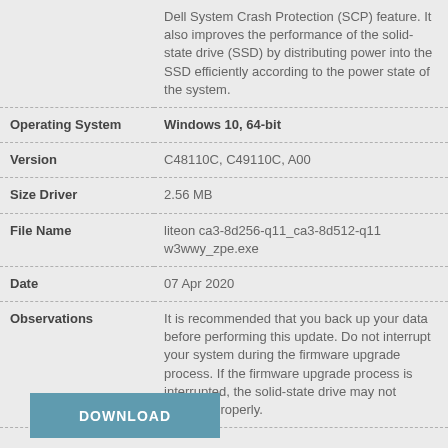| Field | Value |
| --- | --- |
|  | Dell System Crash Protection (SCP) feature. It also improves the performance of the solid-state drive (SSD) by distributing power into the SSD efficiently according to the power state of the system. |
| Operating System | Windows 10, 64-bit |
| Version | C48110C, C49110C, A00 |
| Size Driver | 2.56 MB |
| File Name | liteon ca3-8d256-q11_ca3-8d512-q11 w3wwy_zpe.exe |
| Date | 07 Apr 2020 |
| Observations | It is recommended that you back up your data before performing this update. Do not interrupt your system during the firmware upgrade process. If the firmware upgrade process is interrupted, the solid-state drive may not function properly. |
DOWNLOAD